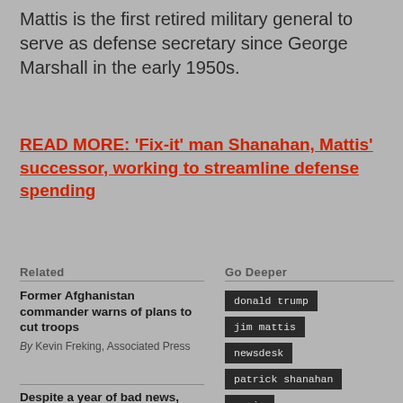Mattis is the first retired military general to serve as defense secretary since George Marshall in the early 1950s.
READ MORE: ‘Fix-it’ man Shanahan, Mattis’ successor, working to streamline defense spending
Related
Go Deeper
Former Afghanistan commander warns of plans to cut troops
By Kevin Freking, Associated Press
donald trump
jim mattis
newsdesk
patrick shanahan
syria
Despite a year of bad news,